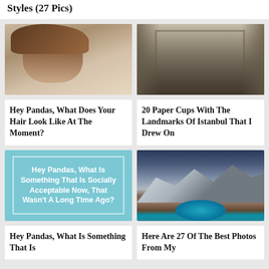Styles (27 Pics)
[Figure (photo): Young person with brown hair, close-up portrait photo]
Hey Pandas, What Does Your Hair Look Like At The Moment?
[Figure (photo): Ornate paper cup with intricate drawing of Istanbul landmark]
20 Paper Cups With The Landmarks Of Istanbul That I Drew On
[Figure (illustration): Teal card with text: Hey Pandas, What Is Something That Is Socially Acceptable Now, That Wasn't A Long Time Ago?]
[Figure (photo): Dramatic mountain landscape with turquoise lake, snowy peaks]
Hey Pandas, What Is Something That Is
Here Are 27 Of The Best Photos From My